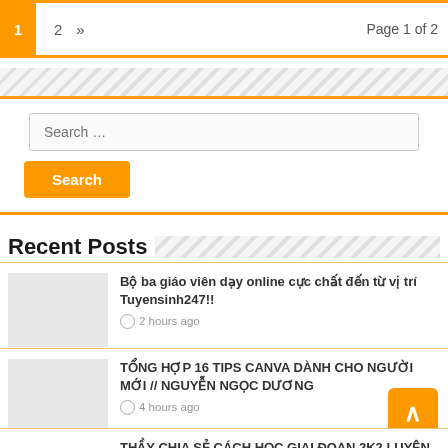1  2  »  Page 1 of 2
[Figure (infographic): Diagonal stripe divider bar]
Search …
Search
Recent Posts
Bộ ba giáo viên dạy online cực chất đến từ vị trí Tuyensinh247!!
2 hours ago
TỔNG HỢP 16 TIPS CANVA DÀNH CHO NGƯỜI MỚI // NGUYỄN NGỌC DƯƠNG
4 hours ago
THẦY CHIA SẺ CÁCH HỌC GIAI ĐOẠN 2K2 LUYỆN